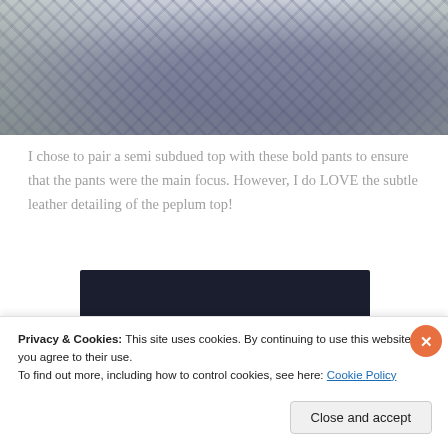[Figure (photo): Outdoor photo showing a person wearing patterned/printed wide-leg pants and holding a dark clutch bag, standing on a gravel path with grass in the background. Only the torso and lower body are visible.]
I chose to pair a semi subdued top with these bold pants to ensure that the pants were the main focus. However, I do LOVE the subtle leather detailing of the peplum top!
[Figure (screenshot): Dark-background image with a pink/red bar at the bottom and a white circle on the right side, partially visible. Appears to be a blog or social media widget/advertisement.]
Privacy & Cookies: This site uses cookies. By continuing to use this website, you agree to their use.
To find out more, including how to control cookies, see here: Cookie Policy
Close and accept